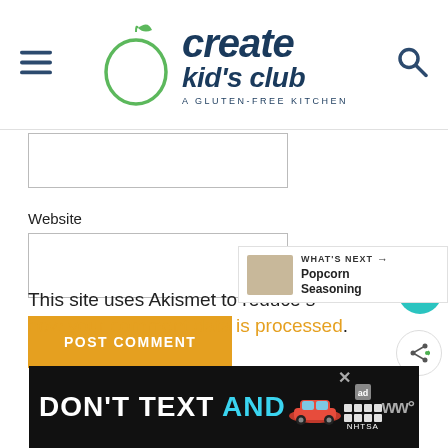[Figure (logo): Create Kid's Club - A Gluten-Free Kitchen logo with green apple icon and dark blue stylized text]
Website
[Figure (other): Empty form input field for website URL]
[Figure (other): POST COMMENT button in orange/amber color]
This site uses Akismet to reduce s... how your comment data is processed.
[Figure (other): Advertisement banner: DON'T TEXT AND [car image] - NHTSA ad with close button]
[Figure (other): What's Next overlay showing Popcorn Seasoning]